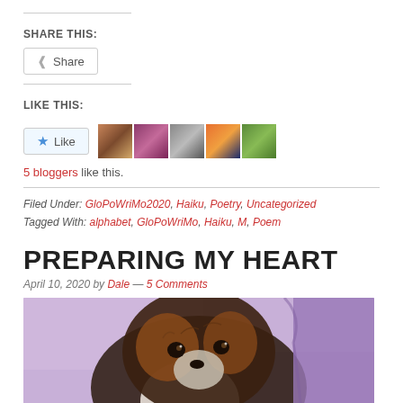SHARE THIS:
Share (button)
LIKE THIS:
Like button with 5 bloggers like this.
Filed Under: GloPoWriMo2020, Haiku, Poetry, Uncategorized
Tagged With: alphabet, GloPoWriMo, Haiku, M, Poem
PREPARING MY HEART
April 10, 2020 by Dale — 5 Comments
[Figure (photo): Close-up photo of a dog's face against a purple background]